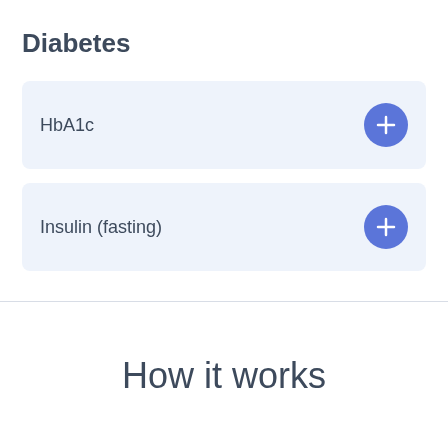Diabetes
HbA1c
Insulin (fasting)
How it works